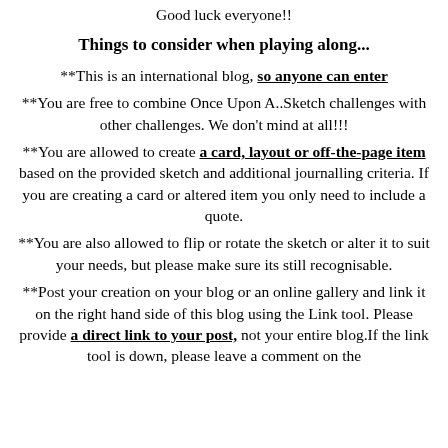Good luck everyone!!
Things to consider when playing along...
**This is an international blog, so anyone can enter
**You are free to combine Once Upon A..Sketch challenges with other challenges. We don't mind at all!!!
**You are allowed to create a card, layout or off-the-page item based on the provided sketch and additional journalling criteria. If you are creating a card or altered item you only need to include a quote.
**You are also allowed to flip or rotate the sketch or alter it to suit your needs, but please make sure its still recognisable.
**Post your creation on your blog or an online gallery and link it on the right hand side of this blog using the Link tool. Please provide a direct link to your post, not your entire blog.If the link tool is down, please leave a comment on the